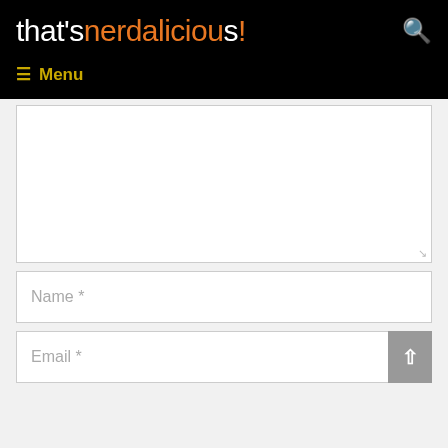that's nerdalicious!
Menu
[Figure (other): Empty comment textarea input field with resize handle]
Name *
Email *